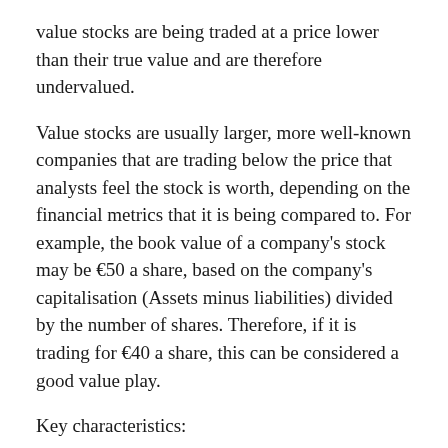value stocks are being traded at a price lower than their true value and are therefore undervalued.
Value stocks are usually larger, more well-known companies that are trading below the price that analysts feel the stock is worth, depending on the financial metrics that it is being compared to. For example, the book value of a company's stock may be €50 a share, based on the company's capitalisation (Assets minus liabilities) divided by the number of shares. Therefore, if it is trading for €40 a share, this can be considered a good value play.
Key characteristics:
Lower priced than the market average - The principle behind value investing is that stocks of good companies will bounce back in time and